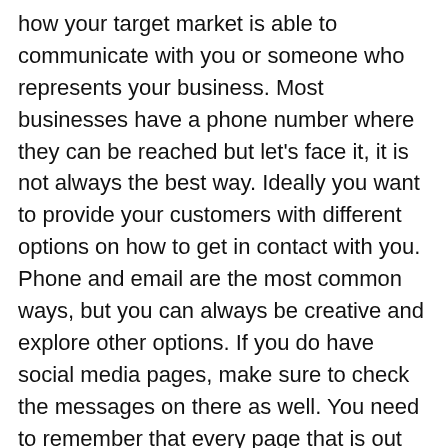how your target market is able to communicate with you or someone who represents your business. Most businesses have a phone number where they can be reached but let's face it, it is not always the best way. Ideally you want to provide your customers with different options on how to get in contact with you. Phone and email are the most common ways, but you can always be creative and explore other options. If you do have social media pages, make sure to check the messages on there as well. You need to remember that every page that is out there with your business name is representing your business. If a customer reaches out to you on one of the pages and they never get an answer back, that may cause them to choose a rival business over yours. Being available and getting back to your customers in a timely manner will cause people to start establishing a positive perception of your business in their minds.